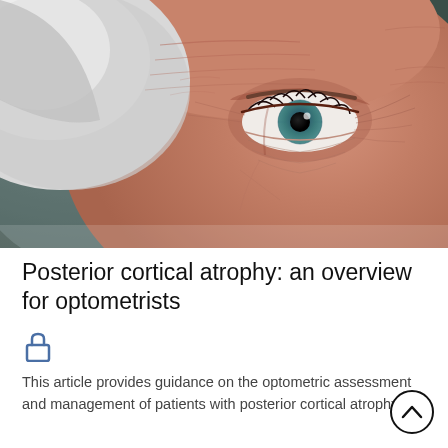[Figure (photo): Close-up photograph of an elderly person's face showing one blue/green eye, wrinkled skin, and white/grey hair against a blurred grey-green background.]
Posterior cortical atrophy: an overview for optometrists
[Figure (illustration): Blue padlock/lock icon indicating paywalled or restricted content]
This article provides guidance on the optometric assessment and management of patients with posterior cortical atrophy.